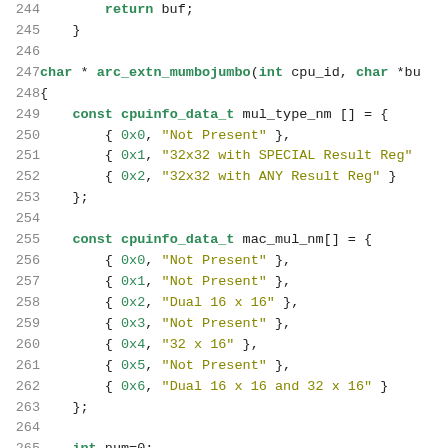Source code listing, lines 244–265, showing C function arc_extn_mumbojumbo with cpuinfo_data_t arrays mul_type_nm and mac_mul_nm.